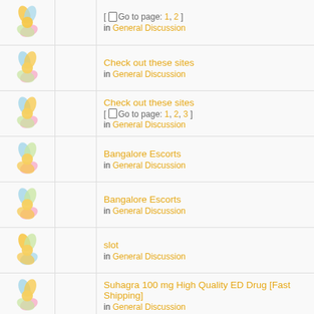[ Go to page: 1, 2 ] in General Discussion
Check out these sites
in General Discussion
Check out these sites
[ Go to page: 1, 2, 3 ]
in General Discussion
Bangalore Escorts
in General Discussion
Bangalore Escorts
in General Discussion
slot
in General Discussion
Suhagra 100 mg High Quality ED Drug [Fast Shipping]
in General Discussion
MetaMask Login - A crypto wallet
in General Discussion
Fildena 150 Treat ED
[ Go to page: 1, 2, 3 ]
in General Discussion
great aticle
in General Discussion